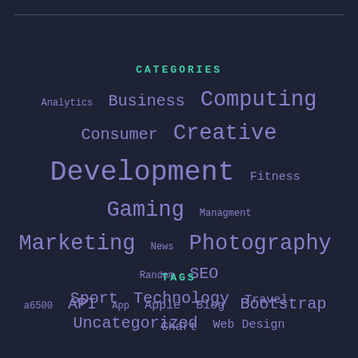CATEGORIES
Analytics Business Computing Consumer Creative Development Fitness Gaming Managment Marketing News Photography Random SEO Sport Technology Travel Uncategorized Web Design
TAGS
a6500 API App Apple Blog Bootstrap Chart